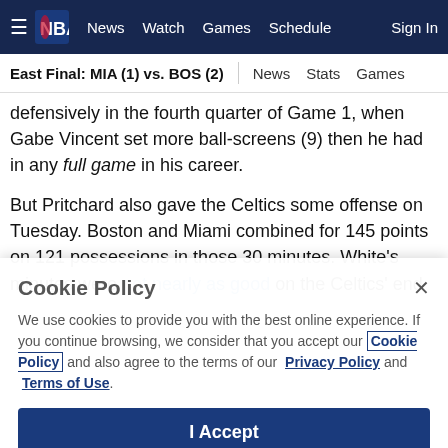≡ NBA | News  Watch  Games  Schedule  Sign In
East Final: MIA (1) vs. BOS (2) | News  Stats  Games
defensively in the fourth quarter of Game 1, when Gabe Vincent set more ball-screens (9) then he had in any full game in his career.
But Pritchard also gave the Celtics some offense on Tuesday. Boston and Miami combined for 145 points on 121 possessions in those 30 minutes. White's minutes were not nearly as good on the Celtics' end
Cookie Policy
We use cookies to provide you with the best online experience. If you continue browsing, we consider that you accept our Cookie Policy and also agree to the terms of our Privacy Policy and Terms of Use.
I Accept